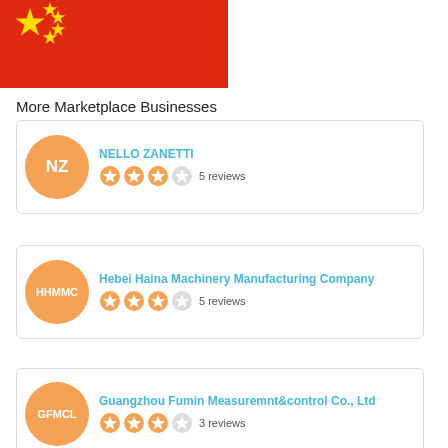[Figure (illustration): Bottom portion of a Chinese flag (red background with yellow stars)]
More Marketplace Businesses
NELLO ZANETTI — 5 reviews (3 out of 5 stars)
Hebei Haina Machinery Manufacturing Company — 5 reviews (3 out of 5 stars)
Guangzhou Fumin Measuremnt&control Co., Ltd — 3 reviews (3 out of 5 stars)